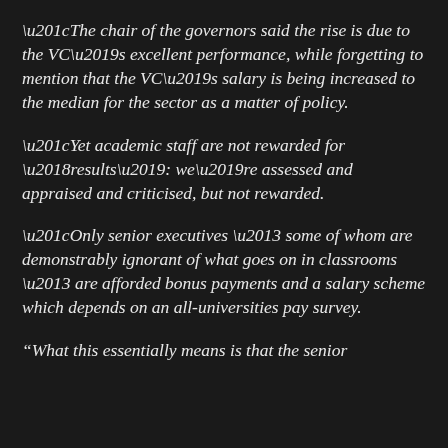“The chair of the governors said the rise is due to the VC’s excellent performance, while forgetting to mention that the VC’s salary is being increased to the median for the sector as a matter of policy.
“Yet academic staff are not rewarded for ‘results’: we’re assessed and appraised and criticised, but not rewarded.
“Only senior executives – some of whom are demonstrably ignorant of what goes on in classrooms – are afforded bonus payments and a salary scheme which depends on an all-universities pay survey.
“What this essentially means is that the senior